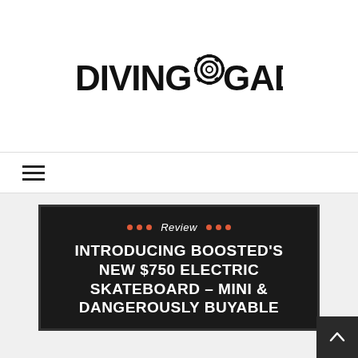[Figure (logo): Diving Gadget logo with gear icon between DIVING and GADGET text in bold black]
[Figure (other): Hamburger menu icon (three horizontal lines)]
INTRODUCING BOOSTED'S NEW $750 ELECTRIC SKATEBOARD – MINI & DANGEROUSLY BUYABLE
Review